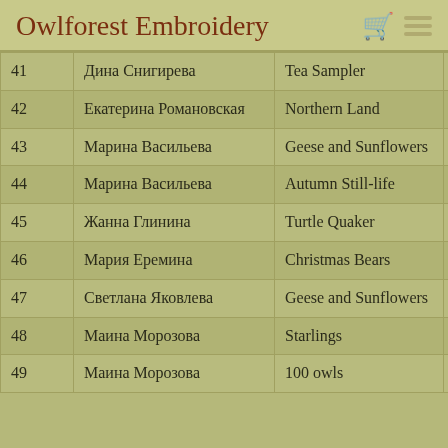Owlforest Embroidery
|  |  |  |  |
| --- | --- | --- | --- |
| 41 | Дина Снигирева | Tea Sampler | 163 |
| 42 | Екатерина Романовская | Northern Land | 115 |
| 43 | Марина Васильева | Geese and Sunflowers | 150 |
| 44 | Марина Васильева | Autumn Still-life | 150 |
| 45 | Жанна Глинина | Turtle Quaker | 26 |
| 46 | Мария Еремина | Christmas Bears | 38 |
| 47 | Светлана Яковлева | Geese and Sunflowers | 13 |
| 48 | Маина Морозова | Starlings | 82 |
| 49 | Маина Морозова | 100 owls | 82 |